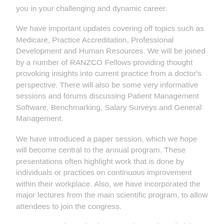you in your challenging and dynamic career.
We have important updates covering off topics such as Medicare, Practice Accreditation, Professional Development and Human Resources. We will be joined by a number of RANZCO Fellows providing thought provoking insights into current practice from a doctor's perspective. There will also be some very informative sessions and forums discussing Patient Management Software, Benchmarking, Salary Surveys and General Management.
We have introduced a paper session, which we hope will become central to the annual program. These presentations often highlight work that is done by individuals or practices on continuous improvement within their workplace. Also, we have incorporated the major lectures from the main scientific program, to allow attendees to join the congress.
We are very pleased to have Cutcher and Neale join with us this year as our program sponsor. Stuart Chan from Cutcher